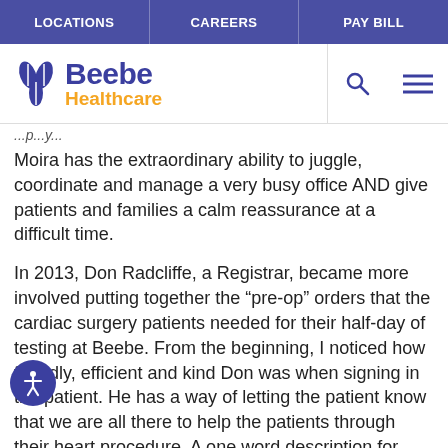LOCATIONS | CAREERS | PAY BILL
[Figure (logo): Beebe Healthcare logo with stylized hand/leaf icon, 'Beebe' in dark blue and 'Healthcare' in golden yellow, with search and menu icons to the right]
...p...y...
Moira has the extraordinary ability to juggle, coordinate and manage a very busy office AND give patients and families a calm reassurance at a difficult time.
In 2013, Don Radcliffe, a Registrar, became more involved putting together the “pre-op” orders that the cardiac surgery patients needed for their half-day of testing at Beebe. From the beginning, I noticed how friendly, efficient and kind Don was when signing in the patient. He has a way of letting the patient know that we are all there to help the patients through their heart procedure. A one word description for Don is Compassion.